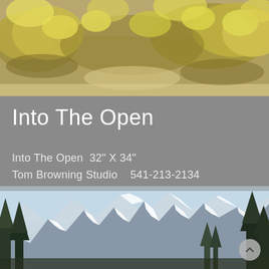[Figure (illustration): Painting of golden-yellow wildflowers and dry brush vegetation in a warm desert landscape, oil painting style.]
Into The Open
Into The Open  32" X 34"
Tom Browning Studio    541-213-2134
8703 E. Eagle Feather Road
Scottsdale, Arizona  85266
[Figure (illustration): Painting of snow-capped jagged mountain peaks with tall evergreen pine trees in the foreground, oil painting style mountain landscape.]